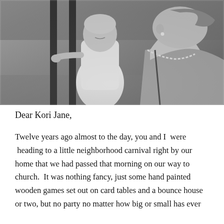[Figure (photo): Black and white photo of a woman with a pearl necklace leaning in close to a young toddler girl in a white dress, who is holding onto vertical bars (like a fence or railing) and smiling downward.]
Dear Kori Jane,
Twelve years ago almost to the day, you and I  were  heading to a little neighborhood carnival right by our home that we had passed that morning on our way to church.  It was nothing fancy, just some hand painted wooden games set out on card tables and a bounce house or two, but no party no matter how big or small has ever